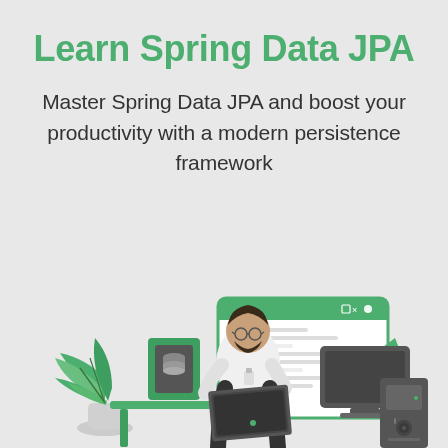Learn Spring Data JPA
Master Spring Data JPA and boost your productivity with a modern persistence framework
[Figure (illustration): Flat-style illustration of a bearded man sitting at a green desk working on a laptop, with a large code editor window behind him, a database document icon to the left, a green cursor arrow to the right, a desktop monitor, a computer tower, and a potted plant in the foreground. Color palette is green, white, dark gray, and light gray.]